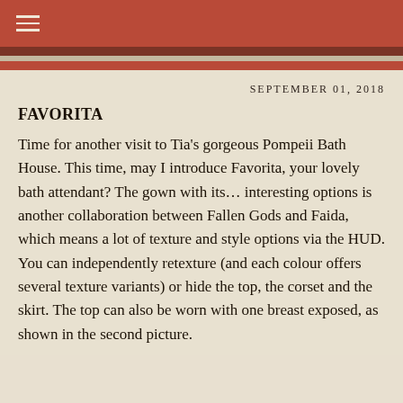SEPTEMBER 01, 2018
FAVORITA
Time for another visit to Tia's gorgeous Pompeii Bath House. This time, may I introduce Favorita, your lovely bath attendant? The gown with its… interesting options is another collaboration between Fallen Gods and Faida, which means a lot of texture and style options via the HUD. You can independently retexture (and each colour offers several texture variants) or hide the top, the corset and the skirt. The top can also be worn with one breast exposed, as shown in the second picture.